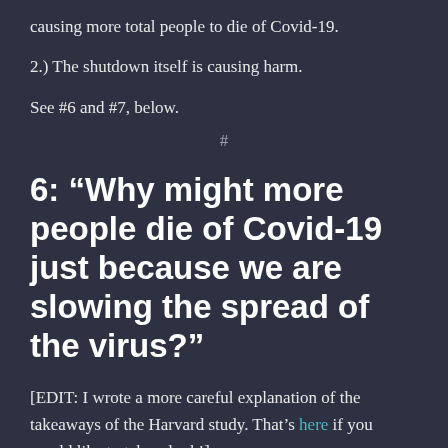causing more total people to die of Covid-19.
2.) The shutdown itself is causing harm.
See #6 and #7, below.
#
6: “Why might more people die of Covid-19 just because we are slowing the spread of the virus?”
[EDIT: I wrote a more careful explanation of the takeaways of the Harvard study. That’s here if you would like to take a look!]